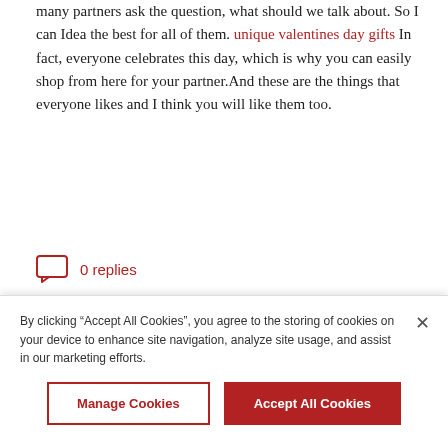many partners ask the question, what should we talk about. So I can Idea the best for all of them. unique valentines day gifts In fact, everyone celebrates this day, which is why you can easily shop from here for your partner.And these are the things that everyone likes and I think you will like them too.
0 replies
Does anyone here want to
By clicking “Accept All Cookies”, you agree to the storing of cookies on your device to enhance site navigation, analyze site usage, and assist in our marketing efforts.
Manage Cookies
Accept All Cookies